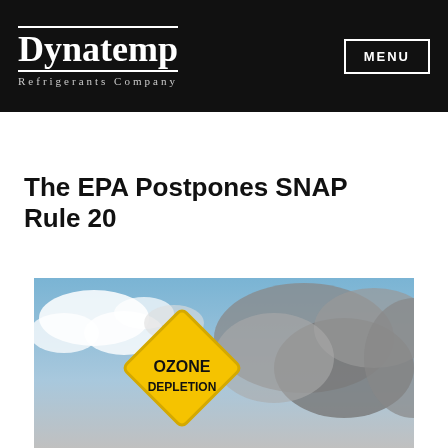[Figure (logo): Dynatemp Refrigerants Company logo — white serif text on black background with horizontal rules above and below the name]
MENU
The EPA Postpones SNAP Rule 20
[Figure (photo): Yellow diamond-shaped warning sign reading 'OZONE DEPLETION' against a cloudy sky background]